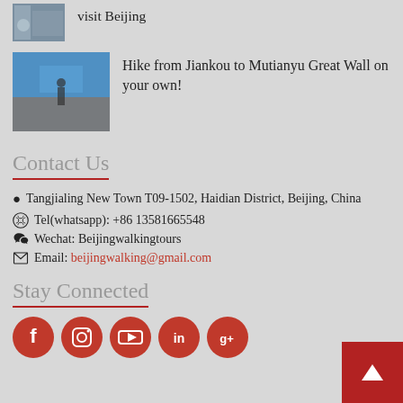[Figure (photo): Small thumbnail image of people at a building, partially visible at top]
visit Beijing
[Figure (photo): Thumbnail image of a person hiking on the Great Wall of China]
Hike from Jiankou to Mutianyu Great Wall on your own!
Contact Us
Tangjialing New Town T09-1502, Haidian District, Beijing, China
Tel(whatsapp): +86 13581665548
Wechat: Beijingwalkingtours
Email: beijingwalking@gmail.com
Stay Connected
[Figure (illustration): Social media icons: Facebook, Instagram, YouTube, LinkedIn, Google+]